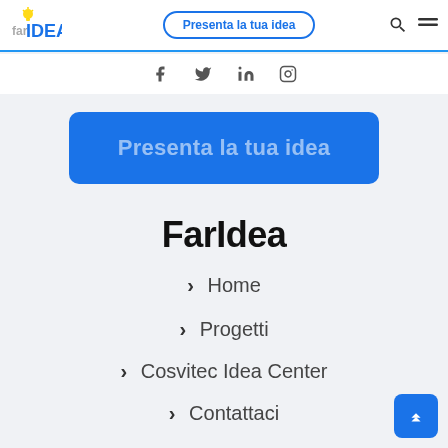fariDEA — Presenta la tua idea
[Figure (screenshot): Social media icons row: Facebook, Twitter, LinkedIn, Instagram]
[Figure (screenshot): Large blue CTA button with text 'Presenta la tua idea']
FarIdea
> Home
> Progetti
> Cosvitec Idea Center
> Contattaci